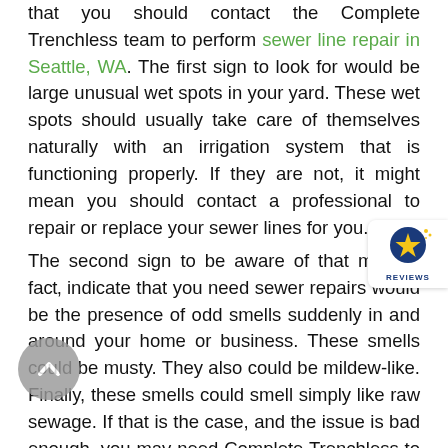that you should contact the Complete Trenchless team to perform sewer line repair in Seattle, WA. The first sign to look for would be large unusual wet spots in your yard. These wet spots should usually take care of themselves naturally with an irrigation system that is functioning properly. If they are not, it might mean you should contact a professional to repair or replace your sewer lines for you.
[Figure (logo): Reviews badge with a star icon and 'REVIEWS' text label, blue and gold color scheme]
The second sign to be aware of that may, in fact, indicate that you need sewer repairs would be the presence of odd smells suddenly in and around your home or business. These smells could be musty. They also could be mildew-like. Finally, these smells could smell simply like raw sewage. If that is the case, and the issue is bad enough, you may need Complete Trenchless to replace sewer line in Seattle, WA, for you. We recommend you contact our team immediately.
[Figure (illustration): Gray circular back/up navigation button with an upward chevron arrow]